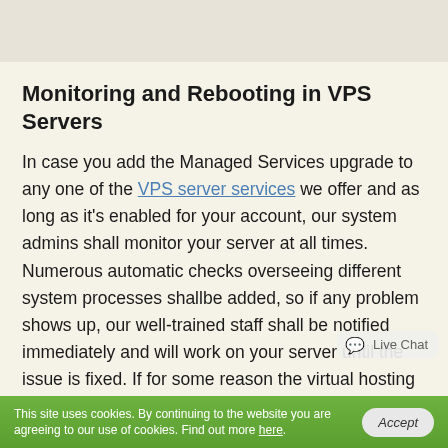Monitoring and Rebooting in VPS Servers
In case you add the Managed Services upgrade to any one of the VPS server services we offer and as long as it's enabled for your account, our system admins shall monitor your server at all times. Numerous automatic checks overseeing different system processes shallbe added, so if any problem shows up, our well-trained staff shall be notified immediately and will work on your server until the issue is fixed. If for some reason the virtual hosting server runs out of memory space or some process freezes, they will check out what caused the issue and shall then reboot the hosting machine to restore all system processes and the proper operation of any site or offline program that you
This site uses cookies. By continuing to the website you are agreeing to our use of cookies. Find out more here.